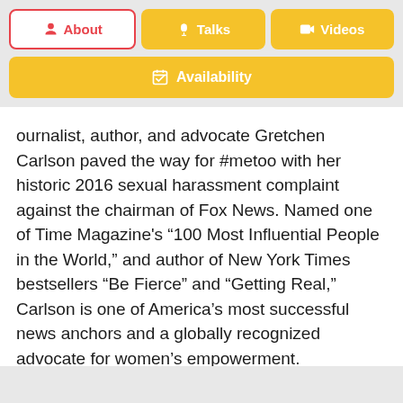About | Talks | Videos
Availability
ournalist, author, and advocate Gretchen Carlson paved the way for #metoo with her historic 2016 sexual harassment complaint against the chairman of Fox News. Named one of Time Magazine's “100 Most Influential People in the World,” and author of New York Times bestsellers “Be Fierce” and “Getting Real,” Carlson is one of America’s most successful news anchors and a globally recognized advocate for women’s empowerment.
Carlson previously hosted “The Real Story” on Fox News, and co-hosted the number-one rated add…morning program “Fox and Friends” f…